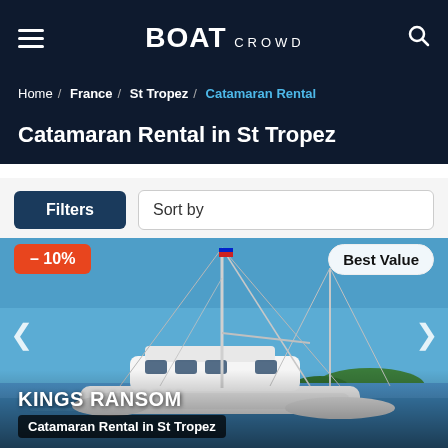BOAT CROWD
Home / France / St Tropez / Catamaran Rental
Catamaran Rental in St Tropez
Filters
Sort by
[Figure (photo): White catamaran sailing vessel on blue water with masts and rigging, anchored near a green island under bright blue sky. Discount badge shows -10% and Best Value label in top corners. Boat name KINGS RANSOM shown at bottom with subtitle Catamaran Rental in St Tropez.]